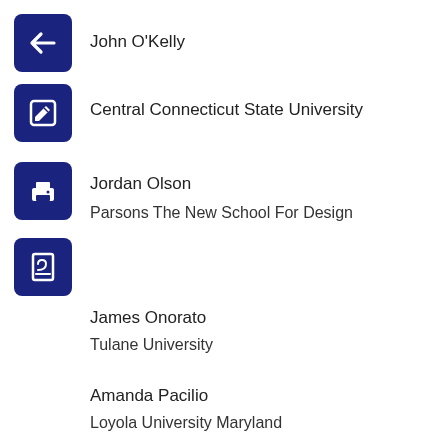[Figure (illustration): Dark navy back-arrow icon button]
John O'Kelly
[Figure (illustration): Dark navy edit/pencil icon button]
Central Connecticut State University
[Figure (illustration): Dark navy print icon button]
Jordan Olson
Parsons The New School For Design
[Figure (illustration): Dark navy PDF/document icon button]
James Onorato
Tulane University
Amanda Pacilio
Loyola University Maryland